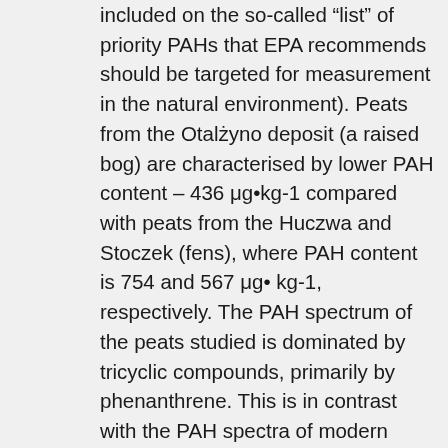included on the so-called 'list' of priority PAHs that EPA recommends should be targeted for measurement in the natural environment). Peats from the Otalżyno deposit (a raised bog) are characterised by lower PAH content – 436 μg•kg-1 compared with peats from the Huczwa and Stoczek (fens), where PAH content is 754 and 567 μg• kg-1, respectively. The PAH spectrum of the peats studied is dominated by tricyclic compounds, primarily by phenanthrene. This is in contrast with the PAH spectra of modern deposits in which tetra- and pentacyclic compounds account for the majority of polycyclic aromatic hydrocarbons. Bog peats have higher acenaphthene content, but at the same time have relatively low levels of fluoranthene relative to